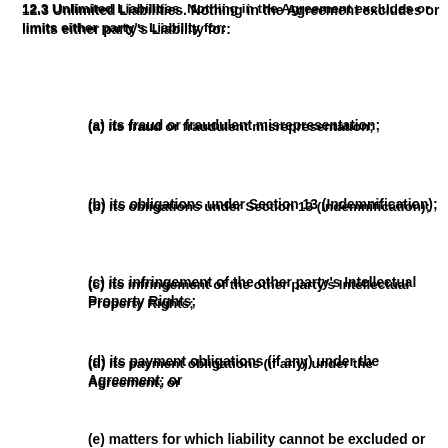12.3 Unlimited Liabilities. Nothing in the Agreement excludes or limits either party's Liability for:
(a) its fraud or fraudulent misrepresentation;
(b) its obligations under Section 13 (Indemnification);
(c) its infringement of the other party's Intellectual Property Rights;
(d) its payment obligations (if any) under the Agreement; or
(e) matters for which liability cannot be excluded or limited under applicable law.
13. Indemnification.
13.1 Google Indemnification Obligations. Google will defend Customer and its Affiliates using the Services under Customer's Account and indemnify them against Indemnified Liabilities in any Third-Party Legal Proceeding